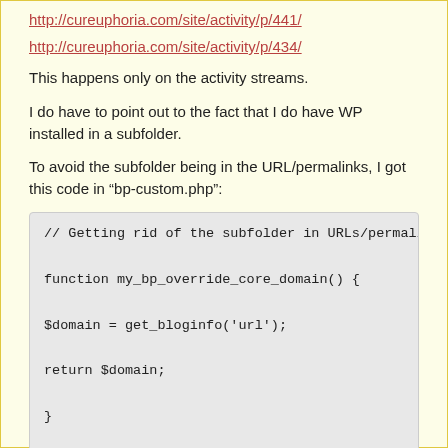http://cureuphoria.com/site/activity/p/441/
http://cureuphoria.com/site/activity/p/434/
This happens only on the activity streams.
I do have to point out to the fact that I do have WP installed in a subfolder.
To avoid the subfolder being in the URL/permalinks, I got this code in “bp-custom.php”:
// Getting rid of the subfolder in URLs/permalinks

function my_bp_override_core_domain() {

$domain = get_bloginfo('url');

return $domain;

}

add_filter('bp_core_get_root_domain','my_bp_overrid
Then, because the images uploaded with Album+ would'nt work with the above code, one of the plugin author (Francesco) wrote this code for me